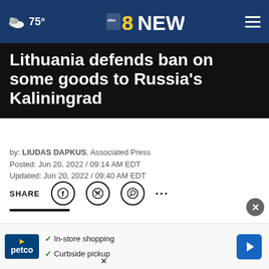75° abc8NEWS
Lithuania defends ban on some goods to Russia's Kaliningrad
by: LIUDAS DAPKUS, Associated Press
Posted: Jun 20, 2022 / 09:14 AM EDT
Updated: Jun 20, 2022 / 09:40 AM EDT
SHARE
VILNIUS, Lithuania (AP) — Lithuania on Monday defended its decision to bar rail transit from Russia to a Russian... European Union...